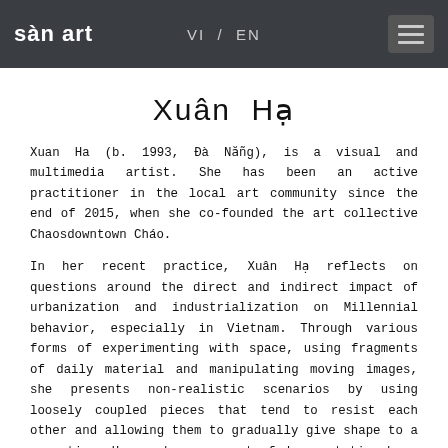sàn aRT   VI / EN
Xuân Hạ
Xuan Ha (b. 1993, Đà Nẵng), is a visual and multimedia artist. She has been an active practitioner in the local art community since the end of 2015, when she co-founded the art collective Chaosdowntown Cháo.
In her recent practice, Xuân Hạ reflects on questions around the direct and indirect impact of urbanization and industrialization on Millennial behavior, especially in Vietnam. Through various forms of experimenting with space, using fragments of daily material and manipulating moving images, she presents non-realistic scenarios by using loosely coupled pieces that tend to resist each other and allowing them to gradually give shape to a narrative. Her works are a set of documentation born